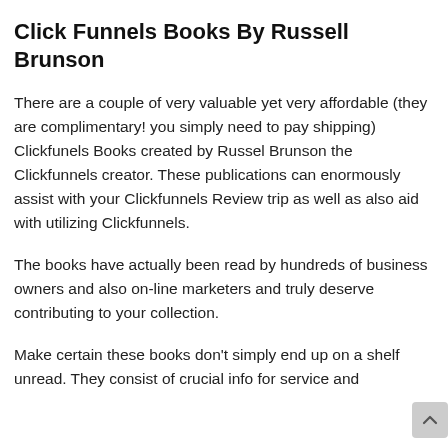Click Funnels Books By Russell Brunson
There are a couple of very valuable yet very affordable (they are complimentary! you simply need to pay shipping) Clickfunels Books created by Russel Brunson the Clickfunnels creator. These publications can enormously assist with your Clickfunnels Review trip as well as also aid with utilizing Clickfunnels.
The books have actually been read by hundreds of business owners and also on-line marketers and truly deserve contributing to your collection.
Make certain these books don't simply end up on a shelf unread. They consist of crucial info for service and